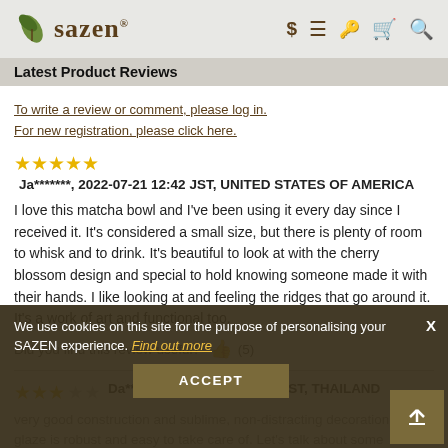sazen [logo] $ ≡ [login] [cart] [search]
Latest Product Reviews
To write a review or comment, please log in.
For new registration, please click here.
★★★★★ Ja*******, 2022-07-21 12:42 JST, UNITED STATES OF AMERICA
I love this matcha bowl and I've been using it every day since I received it. It's considered a small size, but there is plenty of room to whisk and to drink. It's beautiful to look at with the cherry blossom design and special to hold knowing someone made it with their hands. I like looking at and feeling the ridges that go around it. It's a work of art and functional too.
Did you find this review useful? 👍 (5)
★★★☆☆ Da*******, 2021-06-06 12:20 JST, THAILAND
very good construction and sublime, non-distracting decoration. The glaze is robust and easy to take care of. Let's talk about some caveats. Since it has small size and remarkably tapered bottom, there will be less room to whi...
We use cookies on this site for the purpose of personalising your SAZEN experience. Find out more
ACCEPT